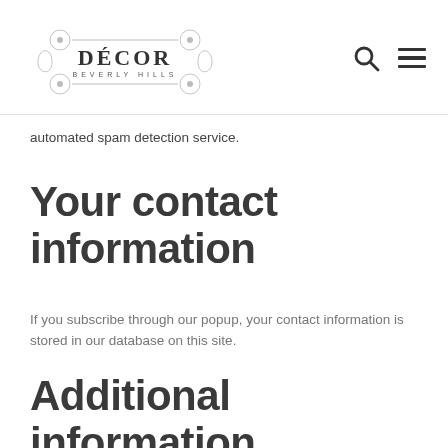[Figure (logo): Décor Beverly Hills logo with ornamental border design]
automated spam detection service.
Your contact information
If you subscribe through our popup, your contact information is stored in our database on this site.
Additional information